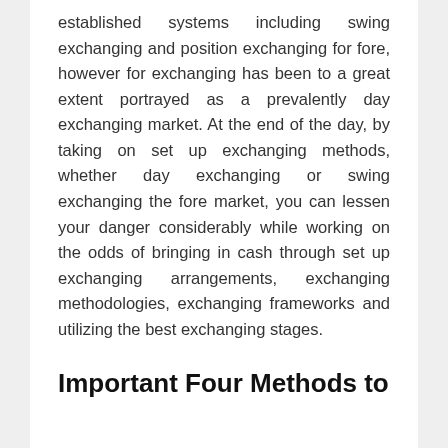established systems including swing exchanging and position exchanging for fore, however for exchanging has been to a great extent portrayed as a prevalently day exchanging market. At the end of the day, by taking on set up exchanging methods, whether day exchanging or swing exchanging the fore market, you can lessen your danger considerably while working on the odds of bringing in cash through set up exchanging arrangements, exchanging methodologies, exchanging frameworks and utilizing the best exchanging stages.
Important Four Methods to